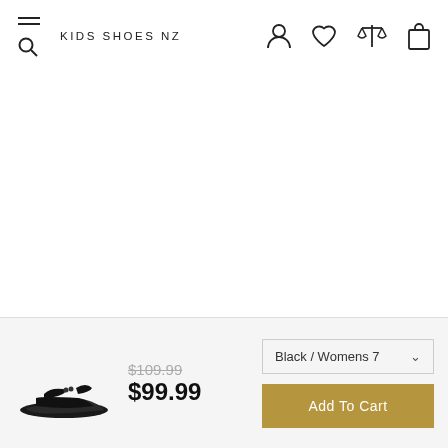KIDS SHOES NZ
[Figure (photo): Black wedge sandal product image shown in the bottom bar]
$109.99 $99.99
Black / Womens 7
Add To Cart